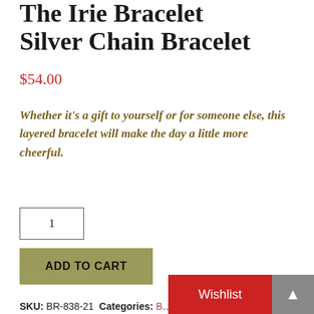The Irie Bracelet Silver Chain Bracelet
$54.00
Whether it's a gift to yourself or for someone else, this layered bracelet will make the day a little more cheerful.
1
ADD TO CART
Add to wishlist
SKU: BR-838-21 Categories: B...he
Wishlist
▲